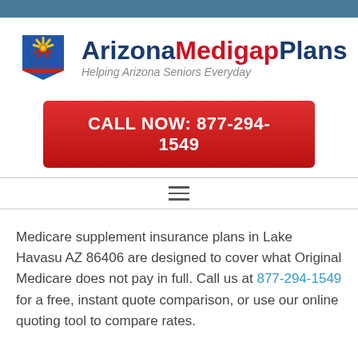[Figure (logo): ArizonaMedigapPlans logo with Arizona state shape icon and brand name text]
CALL NOW: 877-294-1549
[Figure (other): Hamburger menu icon with three horizontal lines]
Medicare supplement insurance plans in Lake Havasu AZ 86406 are designed to cover what Original Medicare does not pay in full. Call us at 877-294-1549 for a free, instant quote comparison, or use our online quoting tool to compare rates.